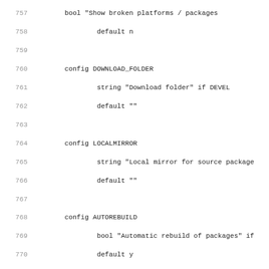Source code listing lines 757-788, Kconfig-style configuration file
757: bool "Show broken platforms / packages"
758: default n
759:
760: config DOWNLOAD_FOLDER
761: string "Download folder" if DEVEL
762: default ""
763:
764: config LOCALMIRROR
765: string "Local mirror for source package
766: default ""
767:
768: config AUTOREBUILD
769: bool "Automatic rebuild of packages" if
770: default y
771: help
772: Automatically rebuild packages when t
773:
774: config BUILD_SUFFIX
775: string "Build suffix to append to the B
776: default ""
777: help
778: Build suffix to append to the BUILD_D
779:
780: config TARGET_ROOTFS_DIR
781: string "Override the default TARGET_ROO
782: default ""
783: help
784: Override the default TARGET_ROOTFS_DI
785: Use this option to re-define the loca
786:
787: config CCACHE
788: bool "Use ccache" if DEVEL